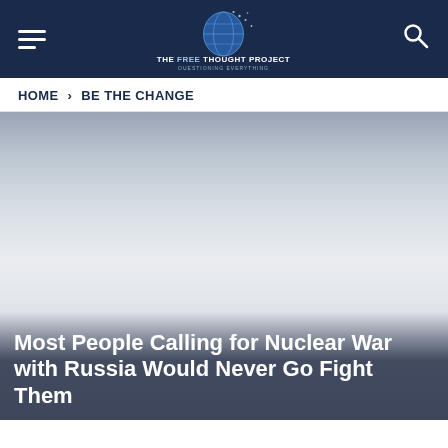The Free Thought Project — navigation header with hamburger menu and search icon
HOME › BE THE CHANGE
[Figure (photo): Large hero image with silver-grey gradient background, appearing to be a partially faded outdoor photograph]
Most People Calling for Nuclear War with Russia Would Never Go Fight Them